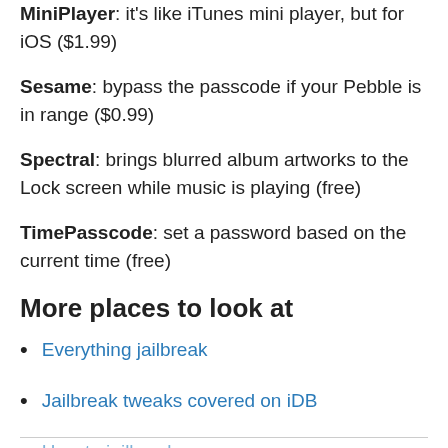MiniPlayer: it's like iTunes mini player, but for iOS ($1.99)
Sesame: bypass the passcode if your Pebble is in range ($0.99)
Spectral: brings blurred album artworks to the Lock screen while music is playing (free)
TimePasscode: set a password based on the current time (free)
More places to look at
Everything jailbreak
Jailbreak tweaks covered on iDB
How to jailbreak
iG information